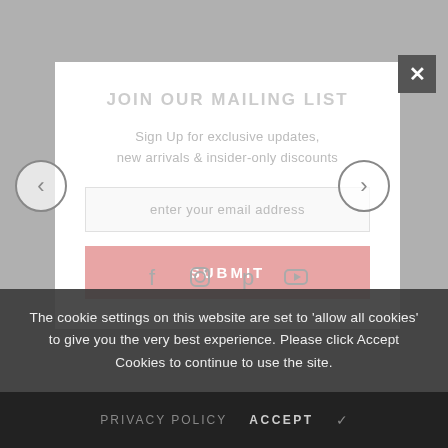JOIN OUR MAILING LIST
Sign Up for exclusive updates, new arrivals & insider-only discounts
enter your email address
SUBMIT
The cookie settings on this website are set to 'allow all cookies' to give you the very best experience. Please click Accept Cookies to continue to use the site.
PRIVACY POLICY   ACCEPT ✓